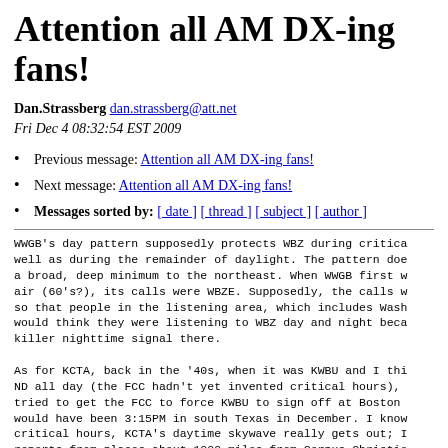Attention all AM DX-ing fans!
Dan.Strassberg dan.strassberg@att.net
Fri Dec 4 08:32:54 EST 2009
Previous message: Attention all AM DX-ing fans!
Next message: Attention all AM DX-ing fans!
Messages sorted by: [ date ] [ thread ] [ subject ] [ author ]
WWGB's day pattern supposedly protects WBZ during critica well as during the remainder of daylight. The pattern doe a broad, deep minimum to the northeast. When WWGB first w air (60's?), its calls were WBZE. Supposedly, the calls w so that people in the listening area, which includes Wash would think they were listening to WBZ day and night beca killer nighttime signal there.

As for KCTA, back in the '40s, when it was KWBU and I thi ND all day (the FCC hadn't yet invented critical hours), tried to get the FCC to force KWBU to sign off at Boston would have been 3:15PM in south Texas in December. I know critical hours, KCTA's daytime skywave really gets out; I reports from places about 1000 miles from Corpus Christie
-----
Dan.Strassberg (dan.strassberg@att.net)